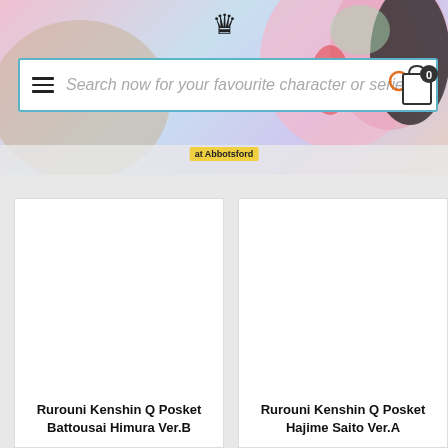[Figure (screenshot): Website header with anime figures banner, search bar with hamburger menu and shopping cart icon, and 'at Abbotsford' location label]
Search now for your favourite character or series...
Rurouni Kenshin Q Posket Battousai Himura Ver.B
Rurouni Kenshin Q Posket Hajime Saito Ver.A